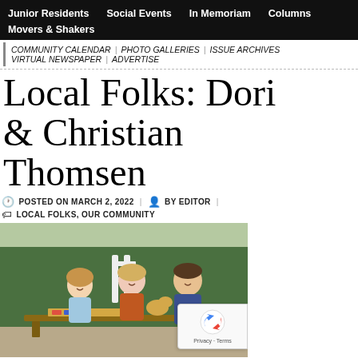Junior Residents | Social Events | In Memoriam | Columns | Movers & Shakers
COMMUNITY CALENDAR | PHOTO GALLERIES | ISSUE ARCHIVES | VIRTUAL NEWSPAPER | ADVERTISE
Local Folks: Dori & Christian Thomsen
POSTED ON MARCH 2, 2022 | BY EDITOR | LOCAL FOLKS, OUR COMMUNITY
[Figure (photo): Family of three (young girl, woman in orange top, man in blue sweater) sitting at an outdoor bench/picnic table with a dog, in front of white fence and green hedges. A board game is on the table.]